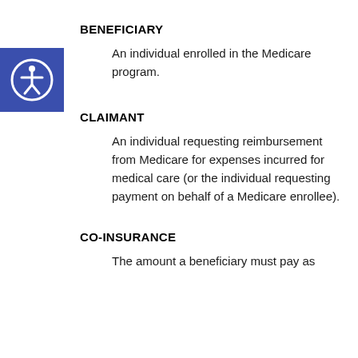BENEFICIARY
[Figure (illustration): Blue square accessibility icon with a white human figure in a circle]
An individual enrolled in the Medicare program.
CLAIMANT
An individual requesting reimbursement from Medicare for expenses incurred for medical care (or the individual requesting payment on behalf of a Medicare enrollee).
CO-INSURANCE
The amount a beneficiary must pay as